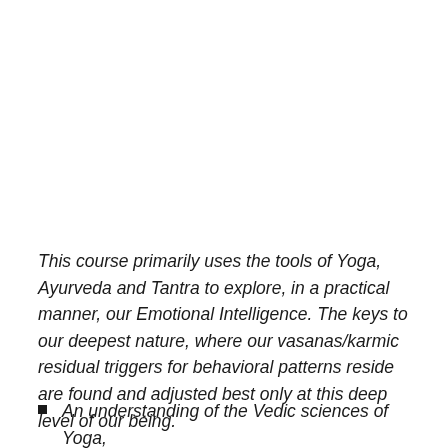This course primarily uses the tools of Yoga, Ayurveda and Tantra to explore, in a practical manner, our Emotional Intelligence. The keys to our deepest nature, where our vasanas/karmic residual triggers for behavioral patterns reside are found and adjusted best only at this deep level of our being.
An understanding of the Vedic sciences of Yoga,